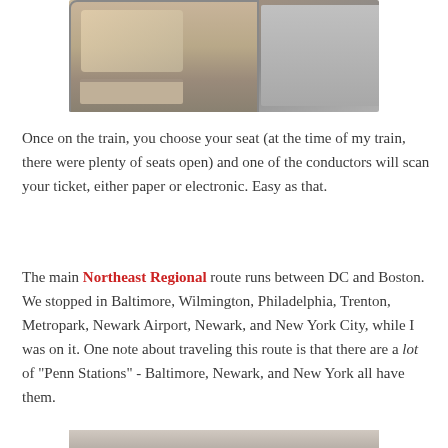[Figure (photo): Interior view of an Amtrak train car showing a window seat with a fold-down tray and a laptop visible on the right side]
Once on the train, you choose your seat (at the time of my train, there were plenty of seats open) and one of the conductors will scan your ticket, either paper or electronic. Easy as that.
The main Northeast Regional route runs between DC and Boston. We stopped in Baltimore, Wilmington, Philadelphia, Trenton, Metropark, Newark Airport, Newark, and New York City, while I was on it. One note about traveling this route is that there are a lot of "Penn Stations" - Baltimore, Newark, and New York all have them.
[Figure (photo): Partial view of another train interior photo at the bottom of the page]